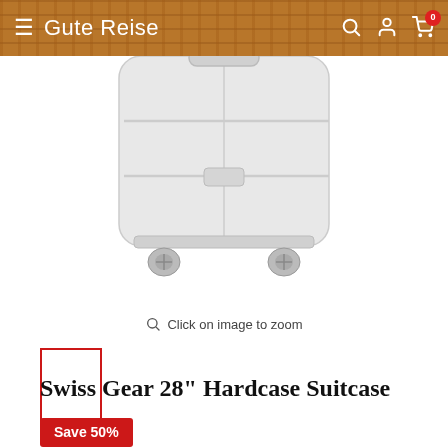Gute Reise
[Figure (photo): White hardcase suitcase on white background, bottom portion visible with wheels]
Click on image to zoom
[Figure (photo): Small thumbnail of white suitcase with red border (active/selected state)]
Swiss Gear 28" Hardcase Suitcase
Save 50%